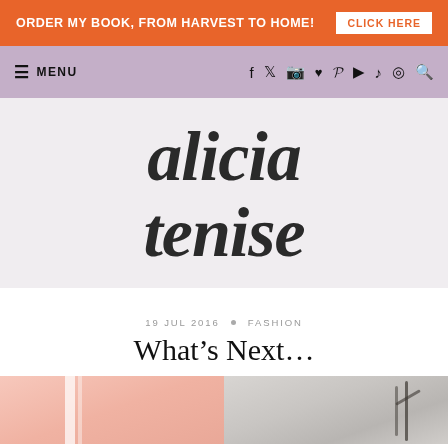ORDER MY BOOK, FROM HARVEST TO HOME! CLICK HERE
≡ MENU [social icons: f, twitter, instagram, heart, pinterest, youtube, tiktok, spotify, search]
[Figure (logo): Alicia Tenise blog logo in hand-lettered script on light gray background]
19 JUL 2016 • FASHION
What's Next…
[Figure (photo): Two side-by-side photos - left shows a pink wall with a white door/window, right shows a darker outdoor scene with bicycle or similar object]